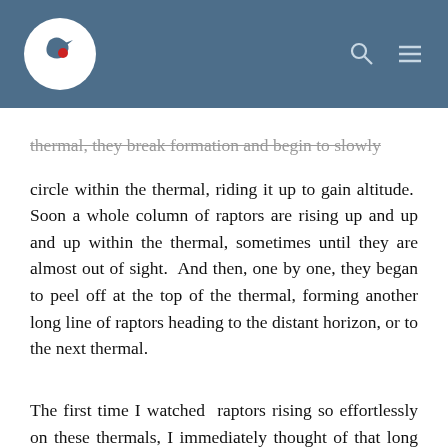[Logo] [Search] [Menu]
thermal, they break formation and begin to slowly circle within the thermal, riding it up to gain altitude. Soon a whole column of raptors are rising up and up and up within the thermal, sometimes until they are almost out of sight. And then, one by one, they began to peel off at the top of the thermal, forming another long line of raptors heading to the distant horizon, or to the next thermal.
The first time I watched raptors rising so effortlessly on these thermals, I immediately thought of that long favourite verse from the Book of Isaiah. But they that wait upon the Lord shall renew their strength; they shall mount up with wings as eagles; they shall run, and not be weary; and they shall walk, and not